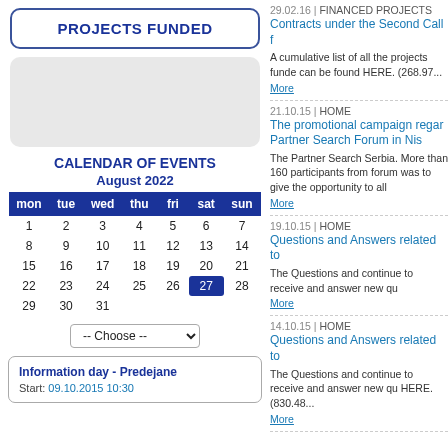PROJECTS FUNDED
[Figure (other): Gray placeholder box]
CALENDAR OF EVENTS
August 2022
| mon | tue | wed | thu | fri | sat | sun |
| --- | --- | --- | --- | --- | --- | --- |
| 1 | 2 | 3 | 4 | 5 | 6 | 7 |
| 8 | 9 | 10 | 11 | 12 | 13 | 14 |
| 15 | 16 | 17 | 18 | 19 | 20 | 21 |
| 22 | 23 | 24 | 25 | 26 | 27 | 28 |
| 29 | 30 | 31 |  |  |  |  |
-- Choose --
Information day - Predejane
Start: 09.10.2015 10:30
29.02.16 | FINANCED PROJECTS
Contracts under the Second Call f
A cumulative list of all the projects funde can be found HERE. (268.97...
More
21.10.15 | HOME
The promotional campaign regar Partner Search Forum in Nis
The Partner Search Serbia. More than 160 participants from forum was to give the opportunity to all
More
19.10.15 | HOME
Questions and Answers related to
The Questions and continue to receive and answer new qu
More
14.10.15 | HOME
Questions and Answers related to
The Questions and continue to receive and answer new qu HERE. (830.48...
More